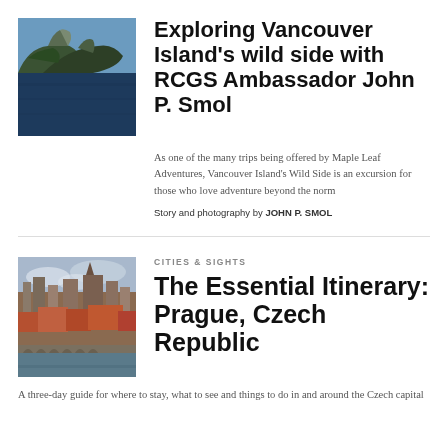[Figure (photo): Aerial view of rocky islands surrounded by dark blue ocean water]
Exploring Vancouver Island's wild side with RCGS Ambassador John P. Smol
As one of the many trips being offered by Maple Leaf Adventures, Vancouver Island's Wild Side is an excursion for those who love adventure beyond the norm
Story and photography by JOHN P. SMOL
[Figure (photo): Aerial view of Prague cityscape with river and historic buildings]
CITIES & SIGHTS
The Essential Itinerary: Prague, Czech Republic
A three-day guide for where to stay, what to see and things to do in and around the Czech capital